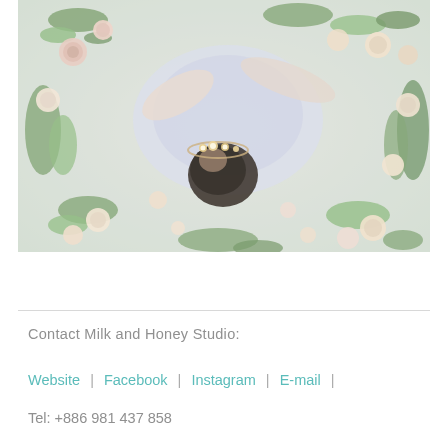[Figure (photo): Overhead view of a woman in a light grey lace dress lying surrounded by flowers including roses and greenery, with a floral crown in her dark hair]
Contact Milk and Honey Studio:
Website | Facebook | Instagram | E-mail |
Tel: +886 981 437 858